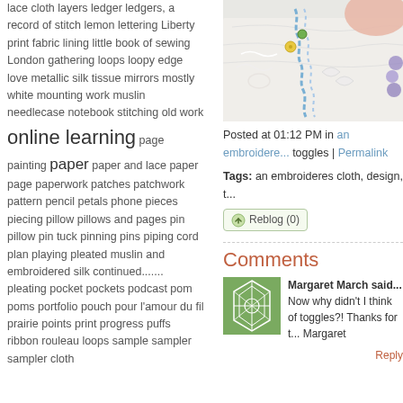lace cloth layers ledger ledgers, a record of stitch lemon lettering Liberty print fabric lining little book of sewing London gathering loops loopy edge love metallic silk tissue mirrors mostly white mounting work muslin needlecase notebook stitching old work online learning page painting paper paper and lace paper page paperwork patches patchwork pattern pencil petals phone pieces piecing pillow pillows and pages pin pillow pin tuck pinning pins piping cord plan playing pleated muslin and embroidered silk continued....... pleating pocket pockets podcast pom poms portfolio pouch pour l'amour du fil prairie points print progress puffs ribbon rouleau loops sample sampler sampler cloth
[Figure (photo): Close-up photo of embroidered cloth with colorful decorative stitching including blue chain stitch, yellow buttons, and white textured embroidery]
Posted at 01:12 PM in an embroidere... toggles | Permalink
Tags: an embroideres cloth, design, t...
Reblog (0)
Comments
Margaret March said... Now why didn't I think of toggles?! Thanks for t... Margaret
Reply